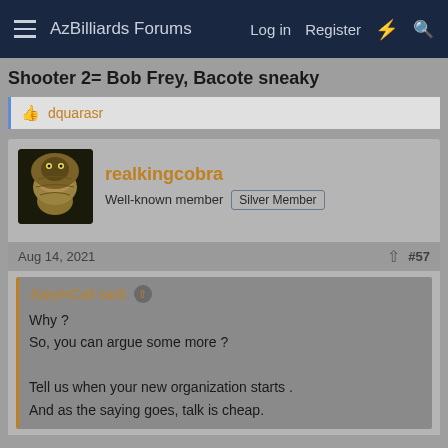AzBilliards Forums  Log in  Register
Shooter 2= Bob Frey, Bacote sneaky
dquarasr (liked)
realkingcobra
Well-known member  Silver Member
Aug 14, 2021  #57
JoeyInCali said:
Why ?
So, you can argue some more ?

Tell us when your new organization starts .
And as the saying goes, talk is cheap.
You know what Joey, its pretty clear to me that I'm the only person who gives a shit about this sport, and I'm NOT content